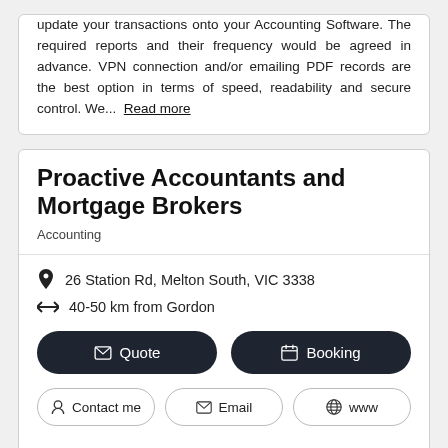update your transactions onto your Accounting Software. The required reports and their frequency would be agreed in advance. VPN connection and/or emailing PDF records are the best option in terms of speed, readability and secure control. We... Read more
Proactive Accountants and Mortgage Brokers
Accounting
26 Station Rd, Melton South, VIC 3338
40-50 km from Gordon
Quote   Booking
Contact me   Email   www
In this competitive world you need someone you can rely on for sound advice. The right advice from an impartial professional can be the difference between success and failure. We have the skills, knowledge